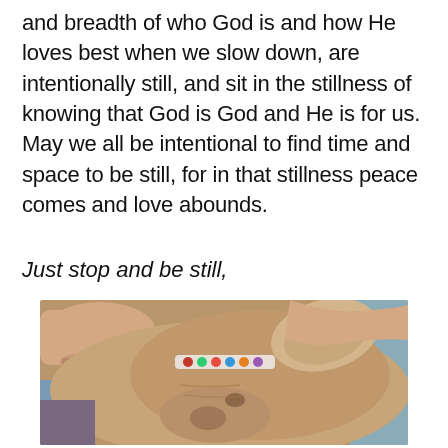and breadth of who God is and how He loves best when we slow down, are intentionally still, and sit in the stillness of knowing that God is God and He is for us. May we all be intentional to find time and space to be still, for in that stillness peace comes and love abounds.
Just stop and be still,
[Figure (photo): A close-up photograph of a dog (appears to be a tan/brown short-haired breed) resting with its head down, wearing a floral collar, with a person's arm (showing a tattoo) draped over it on a blue surface.]